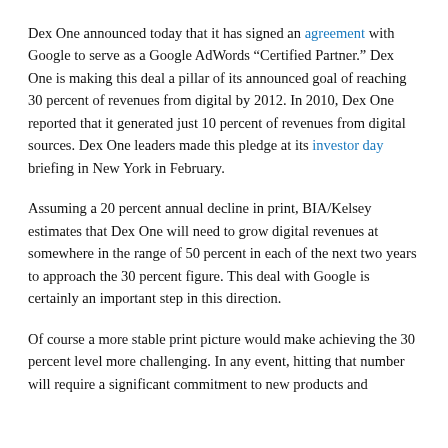Dex One announced today that it has signed an agreement with Google to serve as a Google AdWords “Certified Partner.” Dex One is making this deal a pillar of its announced goal of reaching 30 percent of revenues from digital by 2012. In 2010, Dex One reported that it generated just 10 percent of revenues from digital sources. Dex One leaders made this pledge at its investor day briefing in New York in February.
Assuming a 20 percent annual decline in print, BIA/Kelsey estimates that Dex One will need to grow digital revenues at somewhere in the range of 50 percent in each of the next two years to approach the 30 percent figure. This deal with Google is certainly an important step in this direction.
Of course a more stable print picture would make achieving the 30 percent level more challenging. In any event, hitting that number will require a significant commitment to new products and...